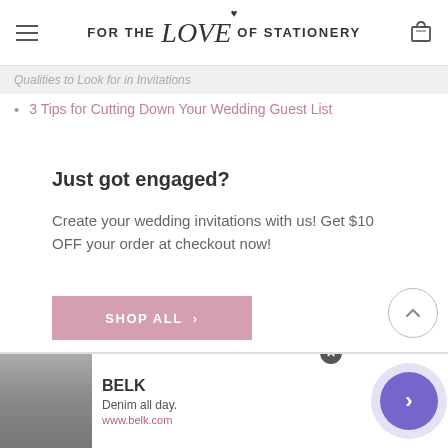FOR THE love OF STATIONERY
Qualities to Look for in Invitations
3 Tips for Cutting Down Your Wedding Guest List
Just got engaged?
Create your wedding invitations with us! Get $10 OFF your order at checkout now!
SHOP ALL >
[Figure (screenshot): Advertisement banner for BELK: Denim all day. www.belk.com with navigation arrow button]